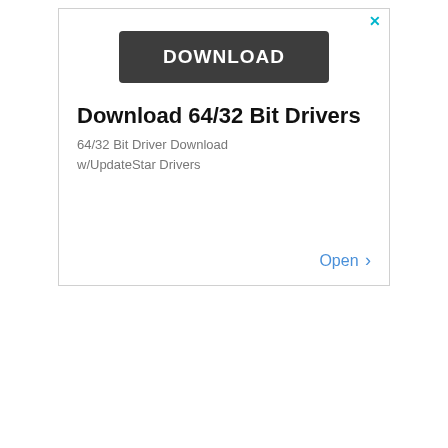[Figure (screenshot): Advertisement banner with a dark DOWNLOAD button, title 'Download 64/32 Bit Drivers', subtitle '64/32 Bit Driver Download w/UpdateStar Drivers', and an 'Open >' link. Has a cyan close X in top-right corner.]
Latest News
09/01/2022  Vivaldi 5.4.2753.45, Edge 105.0.1343.25 and Bravo 1.43.88 available